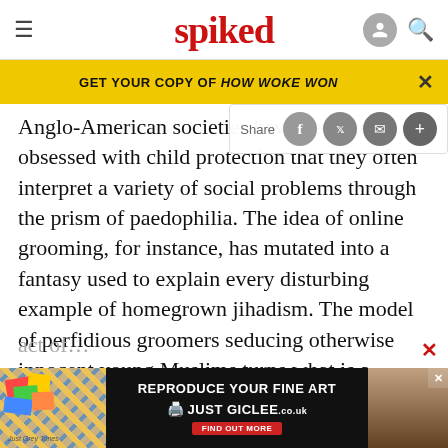spiked
GET YOUR COPY OF HOW WOKE WON
Anglo-American societies have become so obsessed with child protection that they often interpret a variety of social problems through the prism of paedophilia. The idea of online grooming, for instance, has mutated into a fantasy used to explain every disturbing example of homegrown jihadism. The model of perfidious groomers seducing otherwise innocent young Muslims turns what is a struggle of ideas, a battle between ways of life, into a malevolent act of…
[Figure (screenshot): Advertisement banner: REPRODUCE YOUR FINE ART JUST GICLEE.co.uk with FIND OUT MORE button]
ABOUT